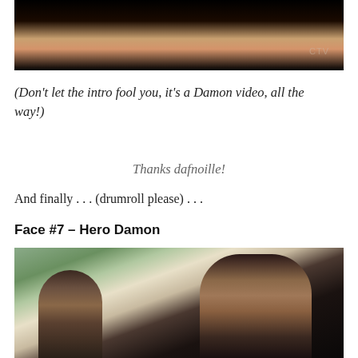[Figure (photo): Top portion of a dark photo showing a person wearing black, with a CTV watermark visible in the lower right.]
(Don't let the intro fool you, it's a Damon video, all the way!)
Thanks dafnoille!
And finally . . . (drumroll please) . . .
Face #7  – Hero Damon
[Figure (photo): Photo of two men in a car, one in the foreground with dark hair looking serious, another in the background.]